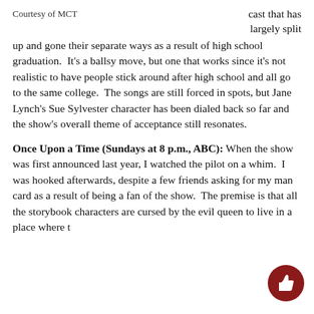Courtesy of MCT
cast that has largely split up and gone their separate ways as a result of high school graduation.  It's a ballsy move, but one that works since it's not realistic to have people stick around after high school and all go to the same college.  The songs are still forced in spots, but Jane Lynch's Sue Sylvester character has been dialed back so far and the show's overall theme of acceptance still resonates.
Once Upon a Time (Sundays at 8 p.m., ABC): When the show was first announced last year, I watched the pilot on a whim.  I was hooked afterwards, despite a few friends asking for my man card as a result of being a fan of the show.  The premise is that all the storybook characters are cursed by the evil queen to live in a place where t…